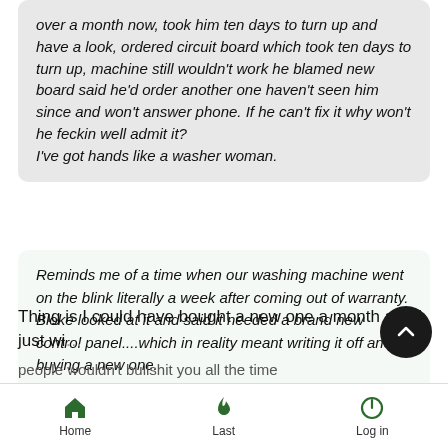over a month now, took him ten days to turn up and have a look, ordered circuit board which took ten days to turn up, machine still wouldn't work he blamed new board said he'd order another one haven't seen him since and won't answer phone. If he can't fix it why won't he feckin well admit it?
I've got hands like a washer woman.
Reminds me of a time when our washing machine went on the blink literally a week after coming out of warranty. Bloke looked at it and said it needed a brand new control panel....which in reality meant writing it off and buying a new one.
Thing is I could have bought a new one a month ago I just wi...
people wouldn't bullshit you all the time
Home   Last   Log in